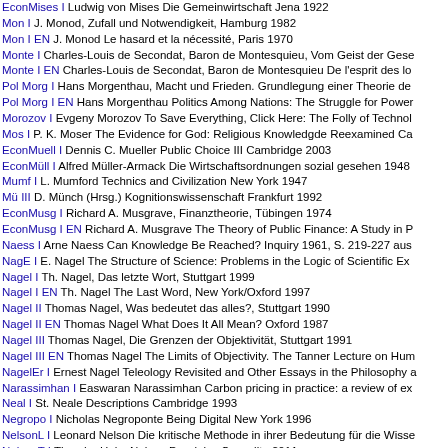EconMises I Ludwig von Mises Die Gemeinwirtschaft Jena 1922
Mon I J. Monod, Zufall und Notwendigkeit, Hamburg 1982
Mon I EN J. Monod Le hasard et la nécessité, Paris 1970
Monte I Charles-Louis de Secondat, Baron de Montesquieu, Vom Geist der Gese…
Monte I EN Charles-Louis de Secondat, Baron de Montesquieu De l'esprit des lo…
Pol Morg I Hans Morgenthau, Macht und Frieden. Grundlegung einer Theorie de…
Pol Morg I EN Hans Morgenthau Politics Among Nations: The Struggle for Power…
Morozov I Evgeny Morozov To Save Everything, Click Here: The Folly of Technol…
Mos I P. K. Moser The Evidence for God: Religious Knowledgde Reexamined Ca…
EconMuell I Dennis C. Mueller Public Choice III Cambridge 2003
EconMüll I Alfred Müller-Armack Die Wirtschaftsordnungen sozial gesehen 1948…
Mumf I L. Mumford Technics and Civilization New York 1947
Mü III D. Münch (Hrsg.) Kognitionswissenschaft Frankfurt 1992
EconMusg I Richard A. Musgrave, Finanztheorie, Tübingen 1974
EconMusg I EN Richard A. Musgrave The Theory of Public Finance: A Study in P…
Naess I Arne Naess Can Knowledge Be Reached? Inquiry 1961, S. 219-227 aus…
NagE I E. Nagel The Structure of Science: Problems in the Logic of Scientific Exp…
Nagel I Th. Nagel, Das letzte Wort, Stuttgart 1999
Nagel I EN Th. Nagel The Last Word, New York/Oxford 1997
Nagel II Thomas Nagel, Was bedeutet das alles?, Stuttgart 1990
Nagel II EN Thomas Nagel What Does It All Mean? Oxford 1987
Nagel III Thomas Nagel, Die Grenzen der Objektivität, Stuttgart 1991
Nagel III EN Thomas Nagel The Limits of Objectivity. The Tanner Lecture on Hum…
NagelEr I Ernest Nagel Teleology Revisited and Other Essays in the Philosophy a…
Narassimhan I Easwaran Narassimhan Carbon pricing in practice: a review of ex…
Neal I St. Neale Descriptions Cambridge 1993
Negropo I Nicholas Negroponte Being Digital New York 1996
NelsonL I Leonard Nelson Die kritische Methode in ihrer Bedeutung für die Wisse…
NelsonT I Theodor Holm Nelson Possiplex Sausalito 2011
Neukom I Raphael Neukom No evidence for globally coherent warm and cold pe…
NeumJ I J. v. Neumann The Computer and the Brain New Haven 2012
Neur I O. Neurath Philosophical Papers 1913-1946: With a Bibliography of Neu…